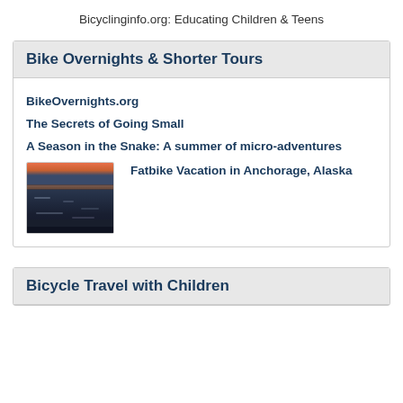Bicyclinginfo.org: Educating Children & Teens
Bike Overnights & Shorter Tours
BikeOvernights.org
The Secrets of Going Small
A Season in the Snake: A summer of micro-adventures
[Figure (photo): Sunset photo of a coastal or tidal landscape with reddish-orange sky and dark water/ice in foreground]
Fatbike Vacation in Anchorage, Alaska
Bicycle Travel with Children